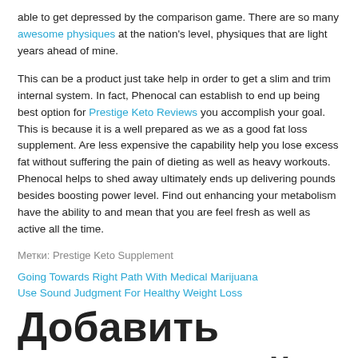able to get depressed by the comparison game. There are so many awesome physiques at the nation's level, physiques that are light years ahead of mine.
This can be a product just take help in order to get a slim and trim internal system. In fact, Phenocal can establish to end up being best option for Prestige Keto Reviews you accomplish your goal. This is because it is a well prepared as we as a good fat loss supplement. Are less expensive the capability help you lose excess fat without suffering the pain of dieting as well as heavy workouts. Phenocal helps to shed away ultimately ends up delivering pounds besides boosting power level. Find out enhancing your metabolism have the ability to and mean that you are feel fresh as well as active all the time.
Метки: Prestige Keto Supplement
Going Towards Right Path With Medical Marijuana
Use Sound Judgment For Healthy Weight Loss
Добавить комментарий